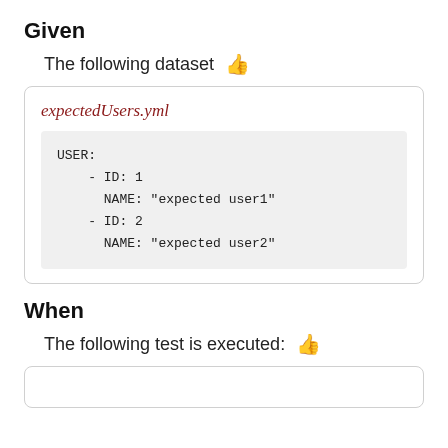Given
The following dataset 👍
[Figure (other): Code card showing expectedUsers.yml file with YAML content listing USER entries with ID and NAME fields]
When
The following test is executed: 👍